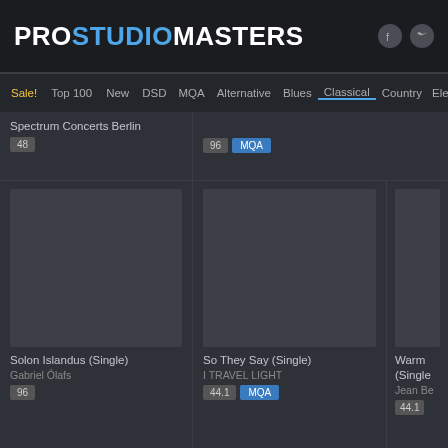PROSTUDIOMASTERS
Sale! Top 100 New DSD MQA Alternative Blues Classical Country Electu
Spectrum Concerts Berlin
48
96 MQA
Solon Islandus (Single)
Gabriel Ólafs
96
So They Say (Single)
I TRAVEL LIGHT
44.1 MQA
Warm (Single)
Jean Be
44.1